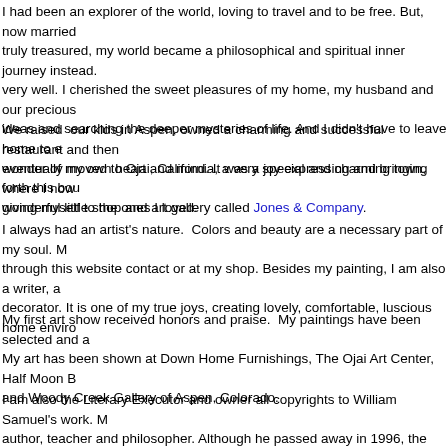I had been an explorer of the world, loving to travel and to be free. But, now married truly treasured, my world became a philosophical and spiritual inner journey instead. very well. I cherished the sweet pleasures of my home, my husband and our precious ideas and searching the deeper mysteries of life. And I didn't have to leave home to e wonder of my own heart and mind. It was a joy expressing and bringing forth this bou giving myself to the ones I loved.
We raised our kids in Aspen, owned a charming and successful restaurant and then eventually moved to Ojai, California, a very special and charming town, where I now wonderful little shop and art gallery called Jones & Company.
I always had an artist's nature. Colors and beauty are a necessary part of my soul. M through this website contact or at my shop. Besides my painting, I am also a writer, a decorator. It is one of my true joys, creating lovely, comfortable, luscious home enviro
My first art show received honors and praise. My paintings have been selected and a My art has been shown at Down Home Furnishings, The Ojai Art Center, Half Moon B and Woody Creek Gallery of Aspen, Colorado.
I am also the Literary Executor and owner all copyrights to William Samuel's work. M author, teacher and philosopher. Although he passed away in 1996, the demand for h Awareness and Self-discovery, continues to grow. I keep all William Samuel's books through Butterfly Publishing House in Ojai.